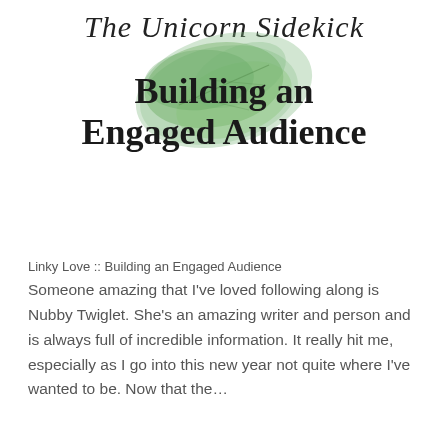The Unicorn Sidekick
[Figure (illustration): Watercolor green leaf or holly cluster used as decorative background element behind the main title text]
Building an Engaged Audience
Linky Love :: Building an Engaged Audience Someone amazing that I've loved following along is Nubby Twiglet. She's an amazing writer and person and is always full of incredible information. It really hit me, especially as I go into this new year not quite where I've wanted to be. Now that the…